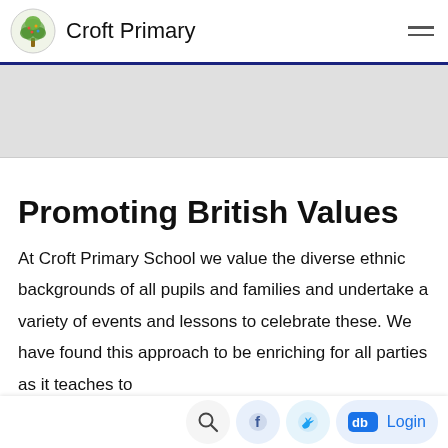Croft Primary
[Figure (photo): Banner/hero image area (grey placeholder)]
Promoting British Values
At Croft Primary School we value the diverse ethnic backgrounds of all pupils and families and undertake a variety of events and lessons to celebrate these. We have found this approach to be enriching for all parties as it teaches to different...